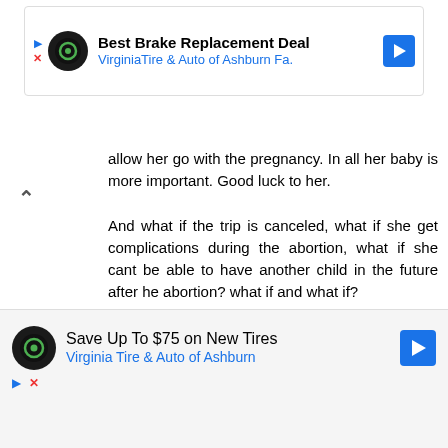[Figure (screenshot): Advertisement banner: Best Brake Replacement Deal - VirginiaTire & Auto of Ashburn Fa.]
allow her go with the pregnancy. In all her baby is more important. Good luck to her.

And what if the trip is canceled, what if she get complications during the abortion, what if she cant be able to have another child in the future after he abortion? what if and what if?
Reply
▾ Replies
OFFICIAL PRESTIGE FAFORON liquid stem cell distributor08122963870 8 May 2022 at
[Figure (screenshot): Advertisement banner: Save Up To $75 on New Tires - Virginia Tire & Auto of Ashburn]